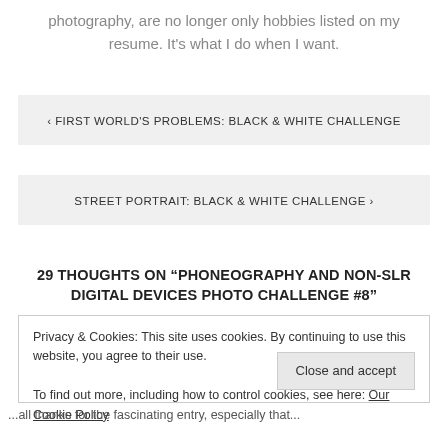photography, are no longer only hobbies listed on my resume. It's what I do when I want.
‹ FIRST WORLD'S PROBLEMS: BLACK & WHITE CHALLENGE
STREET PORTRAIT: BLACK & WHITE CHALLENGE ›
29 THOUGHTS ON "PHONEOGRAPHY AND NON-SLR DIGITAL DEVICES PHOTO CHALLENGE #8"
Privacy & Cookies: This site uses cookies. By continuing to use this website, you agree to their use.
To find out more, including how to control cookies, see here: Our Cookie Policy
Close and accept
...all thanks for the fascinating entry, especially that...